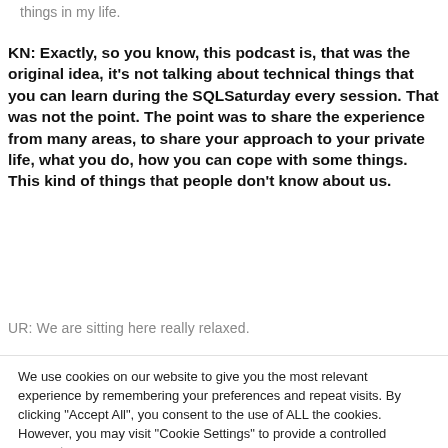things in my life.
KN: Exactly, so you know, this podcast is, that was the original idea, it's not talking about technical things that you can learn during the SQLSaturday every session. That was not the point. The point was to share the experience from many areas, to share your approach to your private life, what you do, how you can cope with some things. This kind of things that people don't know about us.
UR: We are sitting here really relaxed.
We use cookies on our website to give you the most relevant experience by remembering your preferences and repeat visits. By clicking "Accept All", you consent to the use of ALL the cookies. However, you may visit "Cookie Settings" to provide a controlled consent.